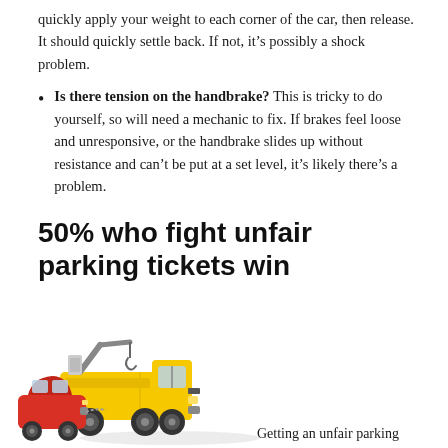quickly apply your weight to each corner of the car, then release. It should quickly settle back. If not, it’s possibly a shock problem.
Is there tension on the handbrake? This is tricky to do yourself, so will need a mechanic to fix. If brakes feel loose and unresponsive, or the handbrake slides up without resistance and can’t be put at a set level, it’s likely there’s a problem.
50% who fight unfair parking tickets win
[Figure (photo): Toy yellow tow truck pulling a small red car, on a white background.]
Getting an unfair parking